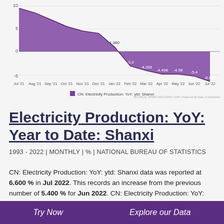[Figure (area-chart): CN: Electricity Production: YoY: ytd: Shanxi]
Electricity Production: YoY: Year to Date: Shanxi
1993 - 2022 | MONTHLY | % | NATIONAL BUREAU OF STATISTICS
CN: Electricity Production: YoY: ytd: Shanxi data was reported at 6.600 % in Jul 2022. This records an increase from the previous number of 5.400 % for Jun 2022. CN: Electricity Production: YoY: ytd: Shanxi data is updated monthly, averaging 8.200 % from Feb 1993 to Jul 2022, with 296 observations. The data reached an all-time high of 28.500 % in Mar 2010 and a record low of -11.100 % in Mar 2015. CN: Electricity Production: YoY: ytd: Shanxi data remains active status in CEIC and is.
Try Now    Explore our Data